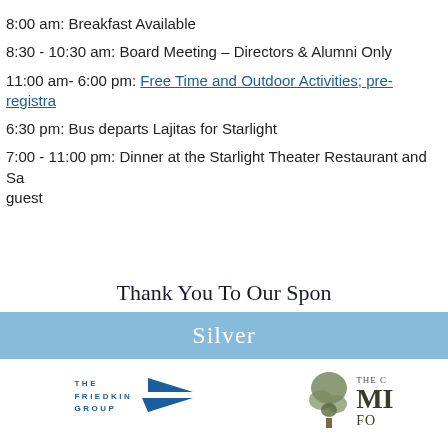8:00 am: Breakfast Available
8:30 - 10:30 am: Board Meeting – Directors & Alumni Only
11:00 am- 6:00 pm: Free Time and Outdoor Activities; pre-registra...
6:30 pm: Bus departs Lajitas for Starlight
7:00 - 11:00 pm: Dinner at the Starlight Theater Restaurant and Sa... guest
Thank You To Our Spon...
Silver
[Figure (logo): The Friedkin Group logo with blue arrow graphic]
[Figure (logo): The C... MI... FO... logo with tree graphic]